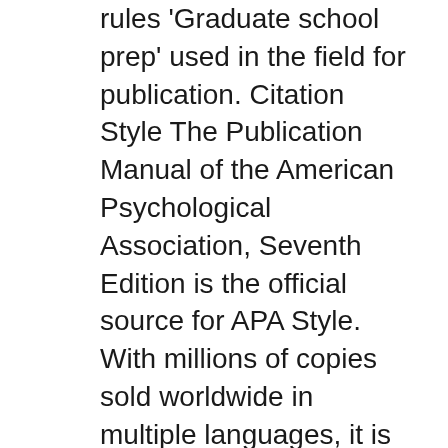rules 'Graduate school prep' used in the field for publication. Citation Style The Publication Manual of the American Psychological Association, Seventh Edition is the official source for APA Style. With millions of copies sold worldwide in multiple languages, it is the style manual of choice for writers, researchers, editors, students, and educators in the social and behavioral sciences, natural sciences, nursing, communications, education, business, engineering, and other fields.
Publication Manual of the American Psychological Association, 6th ed. Examples for preparing citations and the list of works cited are taken from